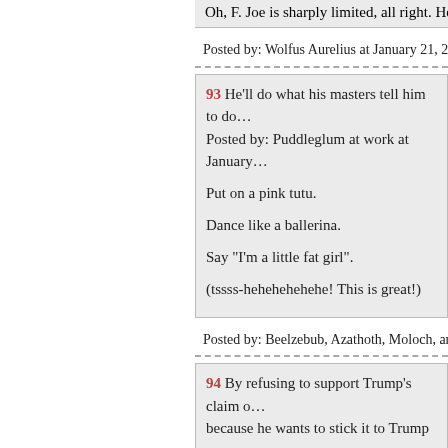Oh, F. Joe is sharply limited, all right. He…
Posted by: Wolfus Aurelius at January 21, 2022 0…
93 He'll do what his masters tell him to do… Posted by: Puddleglum at work at January…
Put on a pink tutu.

Dance like a ballerina.

Say "I'm a little fat girl".

(tssss-hehehehehehe! This is great!)
Posted by: Beelzebub, Azathoth, Moloch, and Ad…
94 By refusing to support Trump's claim o… because he wants to stick it to Trump over… other presidents. Including himself.
Posted by: JackStraw at January 21, 2022…
================
The one that blows me away is permitting… children, as he has without objection to Pe…

Is he really so stupid as not to realize futu…